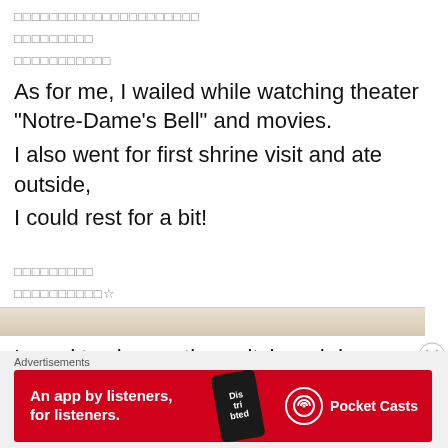□□□□□□□□□□□□□□□□□□□□□
□□□□□□□□□
□□□□□□□□□□□
As for me, I wailed while watching theater "Notre-Dame's Bell" and movies.
I also went for first shrine visit and ate outside,
I could rest for a bit!
□□□□□□□□□
□□□□□□□□□□☆
Rehearsal restarts today!
I need to change the switch and do my best☆
[Figure (photo): Partial photo strip at bottom of page]
Advertisements
[Figure (other): Pocket Casts advertisement banner: 'An app by listeners, for listeners.' with phone graphic and Pocket Casts logo]